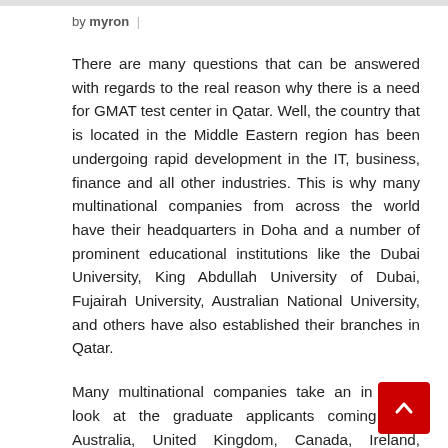by myron |
There are many questions that can be answered with regards to the real reason why there is a need for GMAT test center in Qatar. Well, the country that is located in the Middle Eastern region has been undergoing rapid development in the IT, business, finance and all other industries. This is why many multinational companies from across the world have their headquarters in Doha and a number of prominent educational institutions like the Dubai University, King Abdullah University of Dubai, Fujairah University, Australian National University, and others have also established their branches in Qatar.
Many multinational companies take an in depth look at the graduate applicants coming from Australia, United Kingdom, Canada, Ireland, Singapore, Italy and so on. If you happen to come from any of those nations, you should know that you have to pass the GMAT examination in order to secure a paid job in the corporate sector in the World Wide Web. The